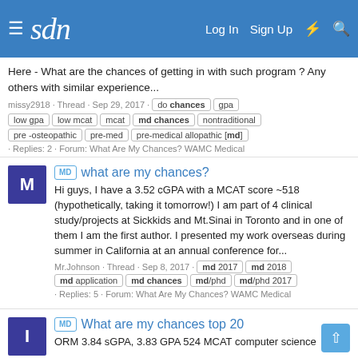sdn — Log In  Sign Up
Here - What are the chances of getting in with such program ? Any others with similar experience...
missy2918 · Thread · Sep 29, 2017 · do chances  gpa  low gpa  low mcat  mcat  md chances  nontraditional  pre -osteopathic  pre-med  pre-medical allopathic [md] · Replies: 2 · Forum: What Are My Chances? WAMC Medical
MD what are my chances?
Hi guys, I have a 3.52 cGPA with a MCAT score ~518 (hypothetically, taking it tomorrow!) I am part of 4 clinical study/projects at Sickkids and Mt.Sinai in Toronto and in one of them I am the first author. I presented my work overseas during summer in California at an annual conference for...
Mr.Johnson · Thread · Sep 8, 2017 · md 2017  md 2018  md application  md chances  md/phd  md/phd 2017 · Replies: 5 · Forum: What Are My Chances? WAMC Medical
MD What are my chances top 20
ORM 3.84 sGPA, 3.83 GPA 524 MCAT computer science